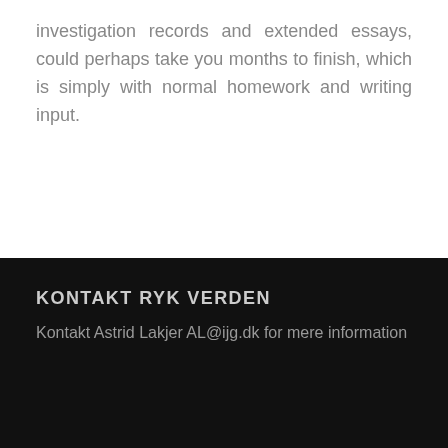investigation records and extended essays, could perhaps take you months to finish, which is simply with normal homework and writing input.
KONTAKT RYK VERDEN
Kontakt Astrid Lakjer AL@ijg.dk for mere information